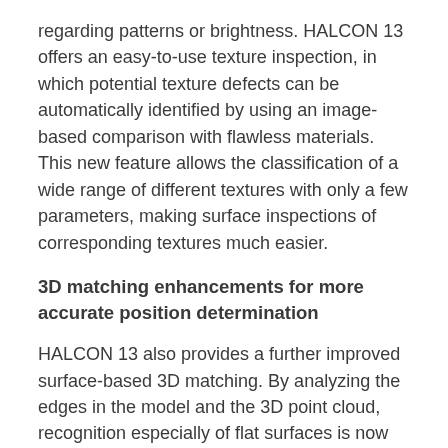regarding patterns or brightness. HALCON 13 offers an easy-to-use texture inspection, in which potential texture defects can be automatically identified by using an image-based comparison with flawless materials. This new feature allows the classification of a wide range of different textures with only a few parameters, making surface inspections of corresponding textures much easier.
3D matching enhancements for more accurate position determination
HALCON 13 also provides a further improved surface-based 3D matching. By analyzing the edges in the model and the 3D point cloud, recognition especially of flat surfaces is now more robust, which allows the position of objects to be determined more precisely. This new method is particularly suitable for finding the exact position of boxes in the 3D space. The announced software release also includes a new technology for the multi-view reconstruction of 3D objects with surface fusion. Using the image information